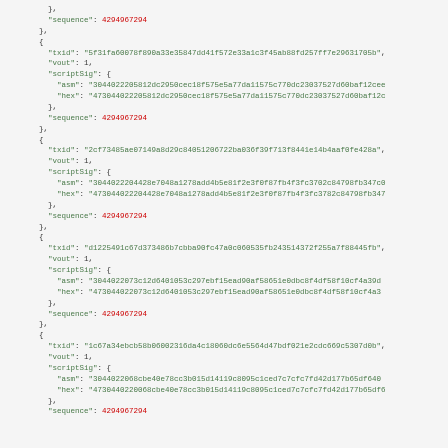JSON code block showing Bitcoin transaction inputs with txid, vout, scriptSig (asm and hex), and sequence fields. Multiple transaction input objects are shown.